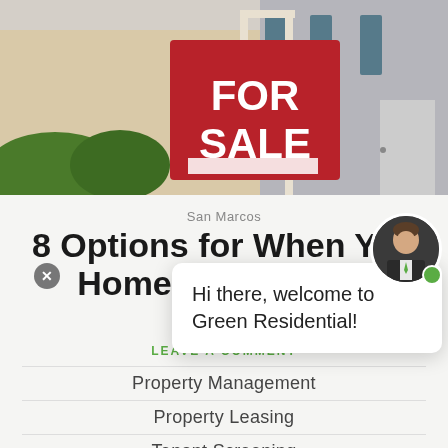[Figure (photo): Exterior photo of a house with a red FOR SALE sign on a post in front of a beige house with blue shutters and green bushes]
San Marcos
8 Options for When Your Home Isn't Selling
OCT 1
OUR...
LEAVE A COMMENT
Property Management
Property Leasing
Tenant Screening
[Figure (photo): Chat widget popup saying 'Hi there, welcome to Green Residential!' with a close X button, and a circular avatar photo of a man in a suit with a green online indicator dot]